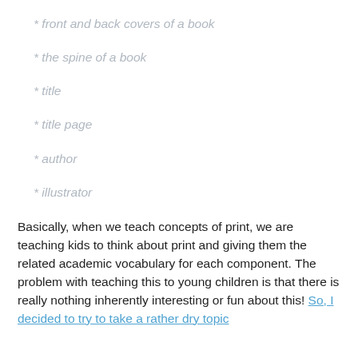* front and back covers of a book
* the spine of a book
* title
* title page
* author
* illustrator
Basically, when we teach concepts of print, we are teaching kids to think about print and giving them the related academic vocabulary for each component. The problem with teaching this to young children is that there is really nothing inherently interesting or fun about this! So, I decided to try to take a rather dry topic